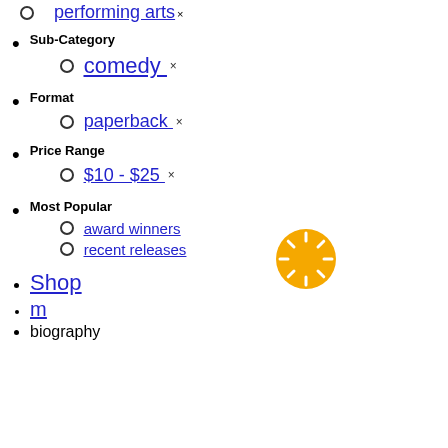performing arts ×
Sub-Category
comedy ×
Format
paperback ×
Price Range
$10 - $25 ×
Most Popular
award winners
recent releases
Shop
m
biography